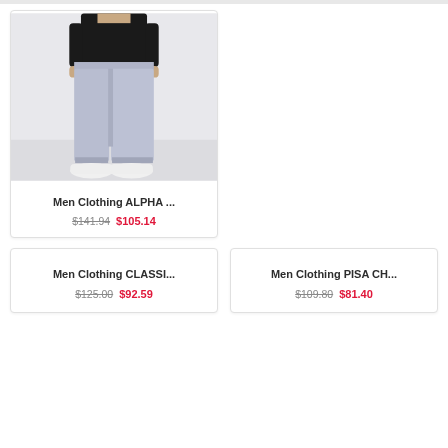[Figure (photo): Man wearing light grey/lavender trousers with a black t-shirt and white shoes, standing against a white background]
Men Clothing ALPHA ...
$141.94 $105.14
Men Clothing CLASSI...
$125.00 $92.59
Men Clothing PISA CH...
$109.80 $81.40